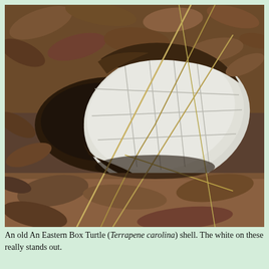[Figure (photo): Close-up photograph of an old Eastern Box Turtle (Terrapene carolina) shell lying among dead leaves and dirt on the forest floor. The shell is predominantly white/pale gray with visible scute divisions, partially obscured by dark organic material and crossed by dry grass stems.]
An old An Eastern Box Turtle (Terrapene carolina) shell. The white on these really stands out.